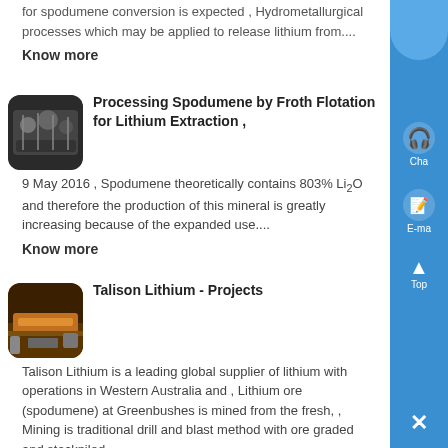for spodumene conversion is expected , Hydrometallurgical processes which may be applied to release lithium from....
Know more
[Figure (photo): Thumbnail image of industrial processing equipment, rounded corners]
Processing Spodumene by Froth Flotation for Lithium Extraction ,
9 May 2016 , Spodumene theoretically contains 803% Li2O and therefore the production of this mineral is greatly increasing because of the expanded use....
Know more
[Figure (photo): Thumbnail image of mining/conveyor equipment, rounded corners]
Talison Lithium - Projects
Talison Lithium is a leading global supplier of lithium with operations in Western Australia and , Lithium ore (spodumene) at Greenbushes is mined from the fresh, , Mining is traditional drill and blast method with ore graded and stockpiled....
Know more
[Figure (photo): Thumbnail image of mining equipment/rock, rounded corners]
Lithium Australia and Pilbara Minerals to pilot lithium